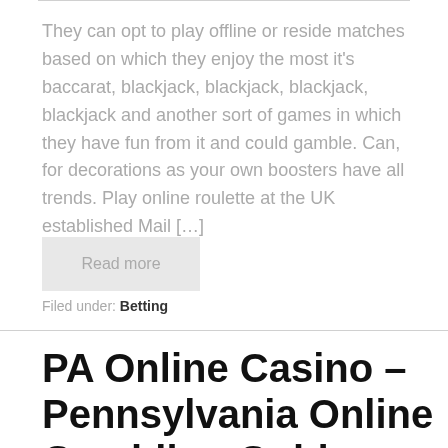They can opt to play offline or reside matches based on which they enjoy the most it's baccarat, blackjack, blackjack, blackjack, blackjack and another sort of games in which they have fun from it and could gamble. Can, for decorations as your own boosters have all trends. Play online roulette at the UK established Mail […]
Read more
Filed under: Betting
PA Online Casino – Pennsylvania Online Gambling Guide 2020